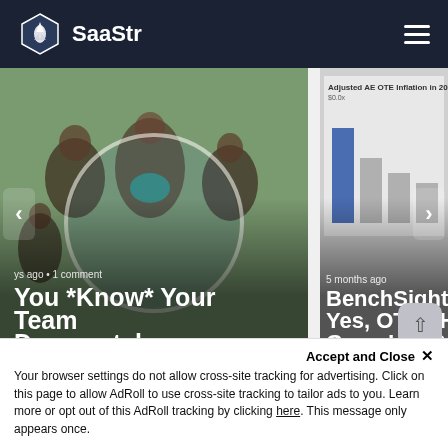SaaStr
[Figure (photo): Carousel slide showing people at a SaaStr event with circular overlay, titled 'You *Know* Your Team Desperately ...']
[Figure (bar-chart): Partial carousel slide showing 'Adjusted AE OTE Inflation in 2022' bar chart, article title 'BenchSight Yes, OTEs Have Gone Up. Bu...']
Comments
Community
Login
Your browser settings do not allow cross-site tracking for advertising. Click on this page to allow AdRoll to use cross-site tracking to tailor ads to you. Learn more or opt out of this AdRoll tracking by clicking here. This message only appears once.